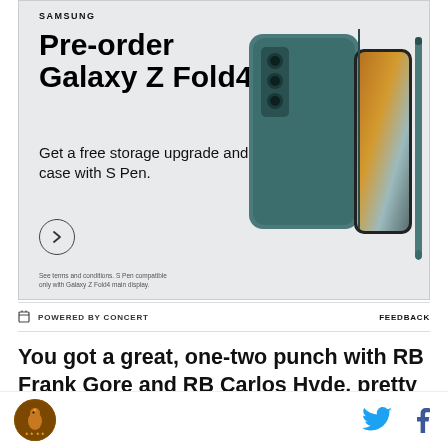[Figure (photo): Samsung advertisement banner for Galaxy Z Fold4 pre-order promotion with teal/green folding phone and S Pen product image on light gray background]
POWERED BY CONCERT   FEEDBACK
You got a great, one-two punch with RB Frank Gore and RB Carlos Hyde, pretty much two to one carries in game one. Is that kind of a fluid situation
[Figure (logo): Circular gold/brown logo icon in footer]
[Figure (other): Twitter and Facebook social share icons in footer]